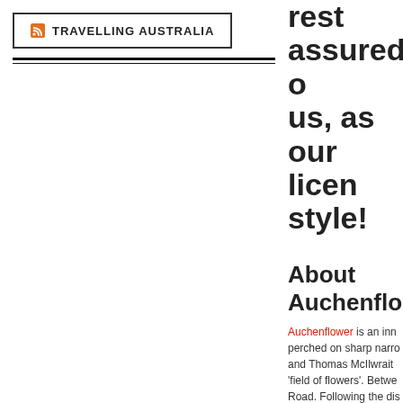[Figure (logo): RSS feed icon (orange) followed by text 'TRAVELLING AUSTRALIA' in a bordered box]
Rest assured o us, as our licen style!
About Auchenflо
Auchenflower is an inn perched on sharp narro and Thomas McIlwrait 'field of flowers'. Betwe Road. Following the dis home to a spooky villa, attractions along this b
Cafe Auchenflow
Having transformed fro mouth-watering innova with a panoramic view breakfast menu featur